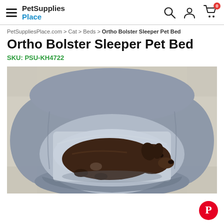PetSupplies Place
PetSuppliesPlace.com > Cat > Beds > Ortho Bolster Sleeper Pet Bed
Ortho Bolster Sleeper Pet Bed
SKU: PSU-KH4722
[Figure (photo): A dark brown puppy resting inside a gray bolster-style orthopedic pet bed on a light carpet background.]